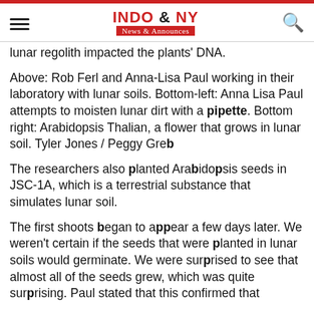INDO & NY News & Announces
lunar regolith impacted the plants' DNA.
Above: Rob Ferl and Anna-Lisa Paul working in their laboratory with lunar soils. Bottom-left: Anna Lisa Paul attempts to moisten lunar dirt with a pipette. Bottom right: Arabidopsis Thalian, a flower that grows in lunar soil. Tyler Jones / Peggy Greb
The researchers also planted Arabidopsis seeds in JSC-1A, which is a terrestrial substance that simulates lunar soil.
The first shoots began to appear a few days later. We weren't certain if the seeds that were planted in lunar soils would germinate. We were surprised to see that almost all of the seeds grew, which was quite surprising. Paul stated that this confirmed that lunar soil did not...